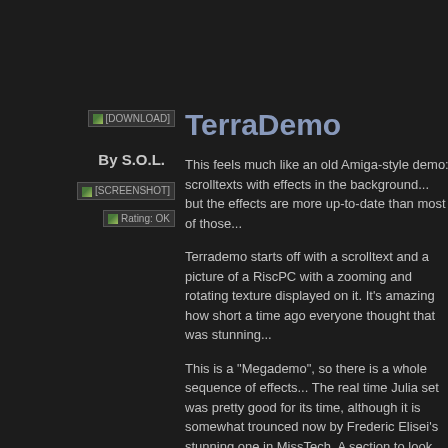TerraDemo
By S.O.L.
[Figure (screenshot): [DOWNLOAD] button placeholder image]
[Figure (screenshot): [SCREENSHOT] placeholder image]
[Figure (other): Rating: OK placeholder image]
This feels much like an old Amiga-style demo: scrolltexts with effects in the background... but the effects are more up-to-date than most of those...
Terrademo starts off with a scrolltext and a picture of a RiscPC with a zooming and rotating texture displayed on it. It's amazing how short a time ago everyone thought that was stunning...
This is a "Megademo", so there is a whole sequence of effects... The real time Julia set was pretty good for its time, although it is somewhat trounced now by Frederic Elisei's stunning one in MissTech. A section to look out for is the 3D landscape: it's too slow to be